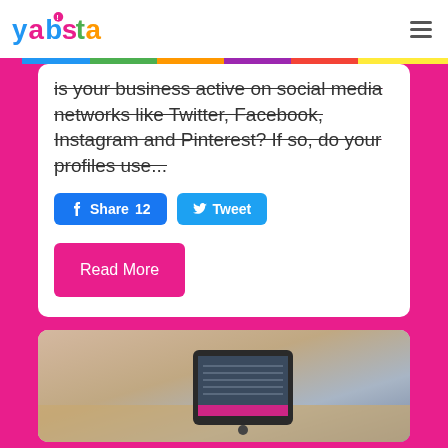yabsta
is your business active on social media networks like Twitter, Facebook, Instagram and Pinterest? If so, do your profiles use...
Share 12   Tweet
Read More
[Figure (photo): Photo of a tablet device on a desk, partially visible at the bottom of the page]